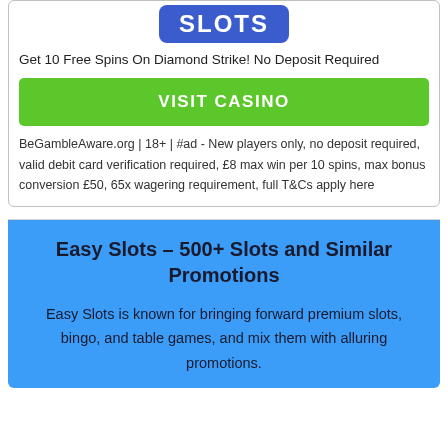[Figure (logo): Easy Slots logo — bold white text 'SLOTS' on blue rounded rectangle background]
Get 10 Free Spins On Diamond Strike! No Deposit Required
VISIT CASINO
BeGambleAware.org | 18+ | #ad - New players only, no deposit required, valid debit card verification required, £8 max win per 10 spins, max bonus conversion £50, 65x wagering requirement, full T&Cs apply here
Easy Slots  – 500+ Slots and Similar Promotions
Easy Slots is known for bringing forward premium slots, bingo, and table games, and mix them with alluring promotions.